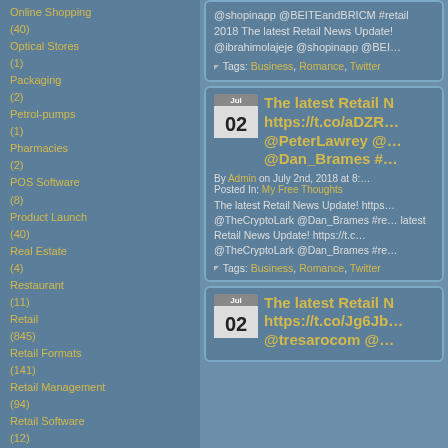Online Shopping (40)
Optical Stores (1)
Packaging (2)
Petrol-pumps (1)
Pharmacies (2)
POS Software (8)
Product Launch (40)
Real Estate (4)
Restaurant (11)
Retail (845)
Retail Formats (141)
Retail Management (94)
Retail Software (12)
Retail Technology (34)
Retail Verticals (48)
RFID (32)
Seminars & Events (10)
Shelf Management (5)
Shop-in-Shop (11)
Smaller Format Superstores (10)
Software (15)
Store Layout (6)
Supermarket/Hypermarket (26)
Supply Chain Mgt (28)
Tips (3)
Vending Machine (2)
VMI (10)
Window Dressing (2)
Archives
August 2022
July 2022
@shopinapp @BEITEandBRICM #retail 2018 The latest Retail News Update! @ibrahimolajeje @shopinapp @BEI...
Tags: Business, Romance, Twitter
The latest Retail N... https://t.co/aDZR... @PeterLawrey @... @Dan_Brames #...
By Admin on July 2nd, 2018 at 8:... Posted In: My Free Thoughts
The latest Retail News Update! https... @TheCryptoLark @Dan_Brames #re... latest Retail News Update! https://t.c... @TheCryptoLark @Dan_Brames #re...
Tags: Business, Romance, Twitter
The latest Retail N... https://t.co/Jg6Jb... @tresarocom @...